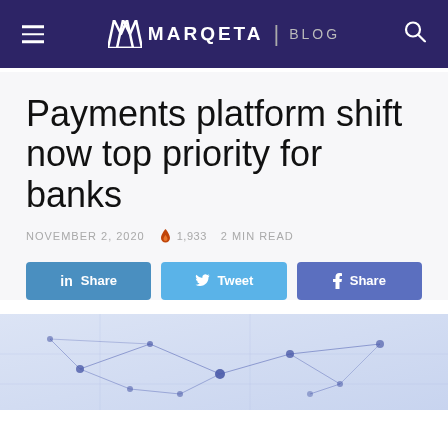MARQETA | BLOG
Payments platform shift now top priority for banks
NOVEMBER 2, 2020   🔥 1,933   2 MIN READ
in Share   Tweet   f Share
[Figure (illustration): Network connectivity / fintech concept illustration with light purple/blue background showing connected nodes and lines]